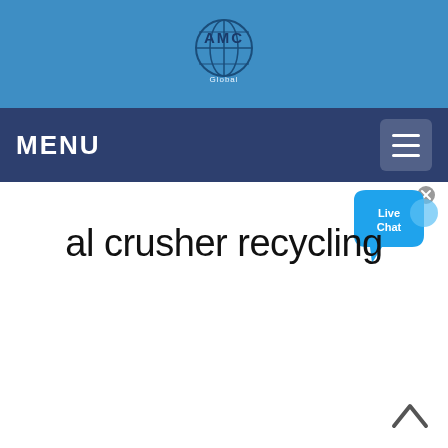AMC Global (logo with globe icon)
MENU
[Figure (screenshot): Live Chat speech bubble icon with close (x) button]
al crusher recycling
[Figure (illustration): Back to top caret/arrow icon in bottom right corner]